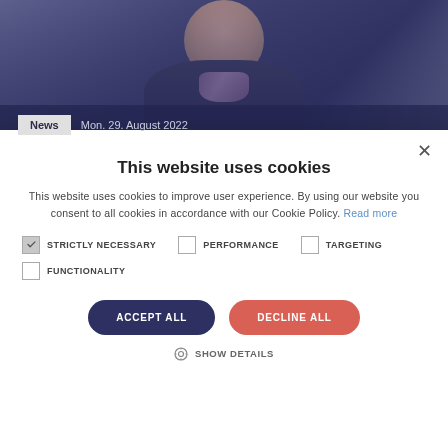[Figure (photo): A person in a dark business jacket with a purple scarf, smiling, shown from shoulders up. News badge and date overlay at bottom left.]
News   Mon. 29. August 2022
This website uses cookies
This website uses cookies to improve user experience. By using our website you consent to all cookies in accordance with our Cookie Policy. Read more
STRICTLY NECESSARY   PERFORMANCE   TARGETING
FUNCTIONALITY
ACCEPT ALL   DECLINE ALL
SHOW DETAILS